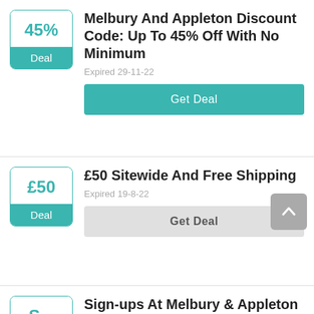Melbury And Appleton Discount Code: Up To 45% Off With No Minimum
Expired 29-11-22
Get Deal
£50 Sitewide And Free Shipping
Expired 19-8-22
Get Deal
Sign-ups At Melbury & Appleton To Get Special Offers &